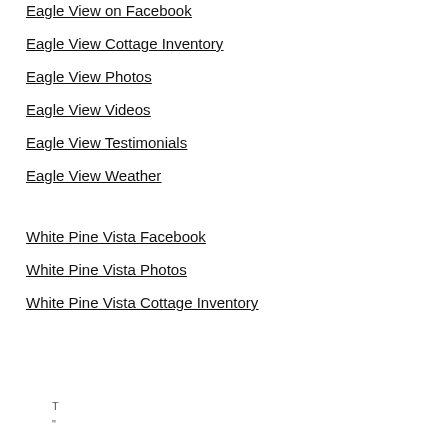Eagle View on Facebook
Eagle View Cottage Inventory
Eagle View Photos
Eagle View Videos
Eagle View Testimonials
Eagle View Weather
White Pine Vista Facebook
White Pine Vista Photos
White Pine Vista Cottage Inventory
[Figure (screenshot): Cookie consent modal overlay with close button (X), title 'This website uses cookies to improve user experience.' and body text 'By using this site, you agree to all cookies in accordance with our Cookie Policy']